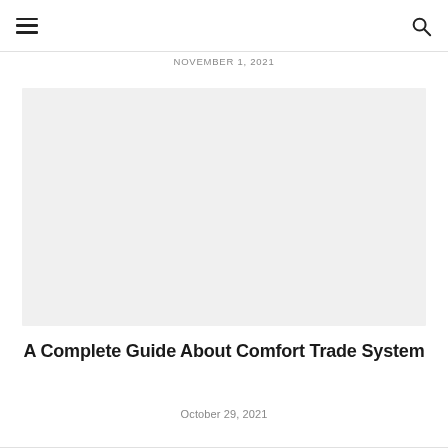≡  🔍
November 1, 2021
[Figure (photo): Large light gray placeholder image for article]
A Complete Guide About Comfort Trade System
October 29, 2021